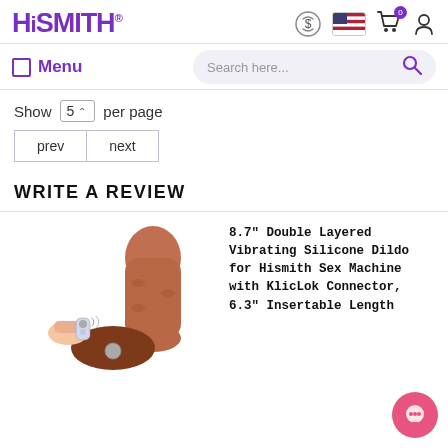[Figure (logo): HiSmith brand logo in purple with registered trademark symbol]
Menu  Search here...
Show 5 per page
prev  next
WRITE A REVIEW
[Figure (photo): 8.7 inch Double Layered Vibrating Silicone Dildo product photo with remote control]
8.7" Double Layered Vibrating Silicone Dildo for Hismith Sex Machine with KlicLok Connector, 6.3" Insertable Length